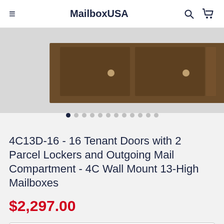MailboxUSA
[Figure (photo): Product photo of a bronze/dark brown 4C wall mount mailbox unit showing two large parcel locker doors with round knobs]
4C13D-16 - 16 Tenant Doors with 2 Parcel Lockers and Outgoing Mail Compartment - 4C Wall Mount 13-High Mailboxes
$2,297.00
Shipping Notice:
Lead Time for new incoming orders: